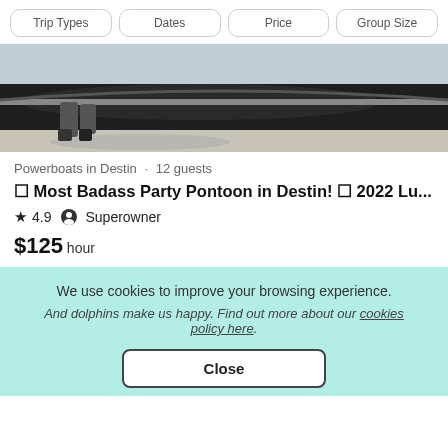Trip Types | Dates | Price | Group Size
[Figure (photo): Partial view of a boat bow on a dock with a person's legs visible]
Powerboats in Destin • 12 guests
⛵ Most Badass Party Pontoon in Destin! ⛵ 2022 Lu...
★ 4.9  🏅 Superowner
$125 hour
We use cookies to improve your browsing experience.
And dolphins make us happy. Find out more about our cookies policy here.
Close